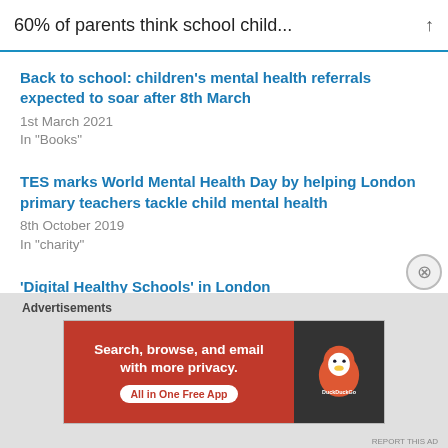60% of parents think school child...
Back to school: children's mental health referrals expected to soar after 8th March
1st March 2021
In "Books"
TES marks World Mental Health Day by helping London primary teachers tackle child mental health
8th October 2019
In "charity"
'Digital Healthy Schools' in London
14th March 2019
In "Education"
Advertisements
[Figure (screenshot): DuckDuckGo advertisement banner: 'Search, browse, and email with more privacy. All in One Free App' with DuckDuckGo logo on dark background.]